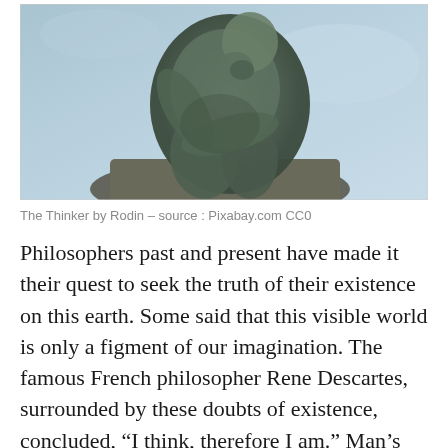[Figure (photo): Photograph of The Thinker sculpture by Auguste Rodin, showing the bronze figure seated and bent in thought, against a blue sky background]
The Thinker by Rodin – source : Pixabay.com CC0
Philosophers past and present have made it their quest to seek the truth of their existence on this earth. Some said that this visible world is only a figment of our imagination. The famous French philosopher Rene Descartes, surrounded by these doubts of existence, concluded, “I think, therefore I am.” Man’s quest for higher education in all the institutions of learning around the world, secular and religious, is based on this. To modern man, his existence is all about the mind. The importance of a